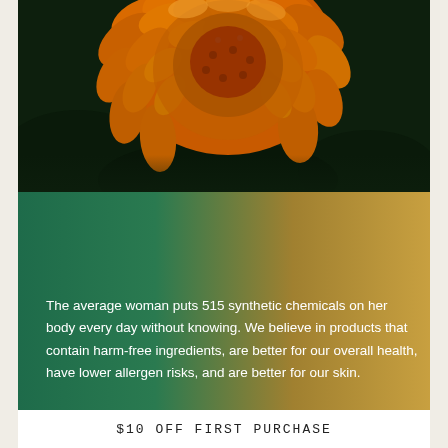[Figure (photo): Close-up photo of an orange marigold flower against a dark green background]
Why organic?
The average woman puts 515 synthetic chemicals on her body every day without knowing. We believe in products that contain harm-free ingredients, are better for our overall health, have lower allergen risks, and are better for our skin.
$10 OFF FIRST PURCHASE